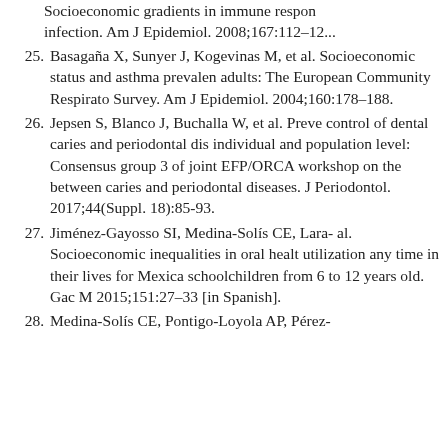Socioeconomic gradients in immune respo... infection. Am J Epidemiol. 2008;167:112–12...
25. Basagaña X, Sunyer J, Kogevinas M, et al. Socioeconomic status and asthma prevalence in adults: The European Community Respiratory Survey. Am J Epidemiol. 2004;160:178–188.
26. Jepsen S, Blanco J, Buchalla W, et al. Prevention and control of dental caries and periodontal diseases at individual and population level: Consensus report of group 3 of joint EFP/ORCA workshop on the boundaries between caries and periodontal diseases. J Clin Periodontol. 2017;44(Suppl. 18):85-93.
27. Jiménez-Gayosso SI, Medina-Solís CE, Lara-... al. Socioeconomic inequalities in oral health care utilization any time in their lives for Mexican schoolchildren from 6 to 12 years old. Gac M... 2015;151:27–33 [in Spanish].
28. Medina-Solís CE, Pontigo-Loyola AP, Pérez-...